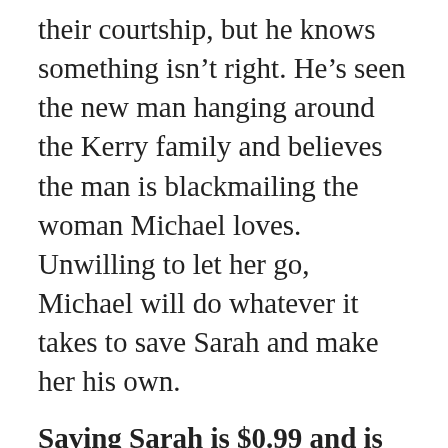their courtship, but he knows something isn't right. He's seen the new man hanging around the Kerry family and believes the man is blackmailing the woman Michael loves. Unwilling to let her go, Michael will do whatever it takes to save Sarah and make her his own.
Saving Sarah is $0.99 and is available here:
Amazon –
https://www.amazon.com/dp